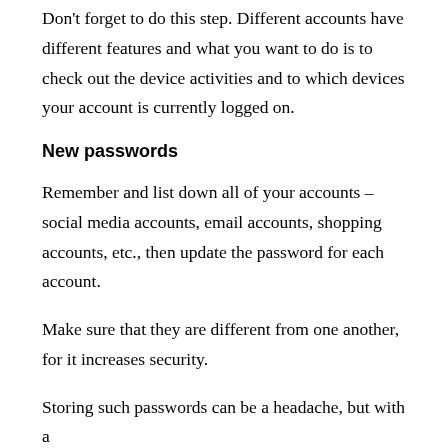Don't forget to do this step. Different accounts have different features and what you want to do is to check out the device activities and to which devices your account is currently logged on.
New passwords
Remember and list down all of your accounts – social media accounts, email accounts, shopping accounts, etc., then update the password for each account.
Make sure that they are different from one another, for it increases security.
Storing such passwords can be a headache, but with a